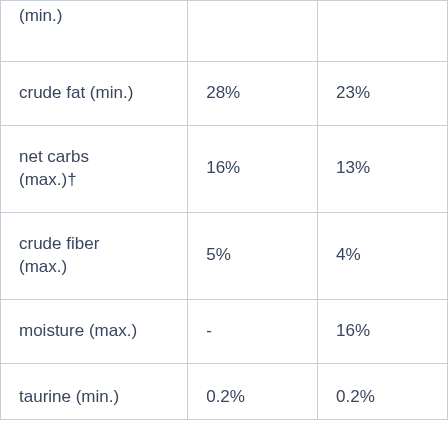| (min.) |  |  |
| crude fat (min.) | 28% | 23% |
| net carbs (max.)† | 16% | 13% |
| crude fiber (max.) | 5% | 4% |
| moisture (max.) | - | 16% |
| taurine (min.) | 0.2% | 0.2% |